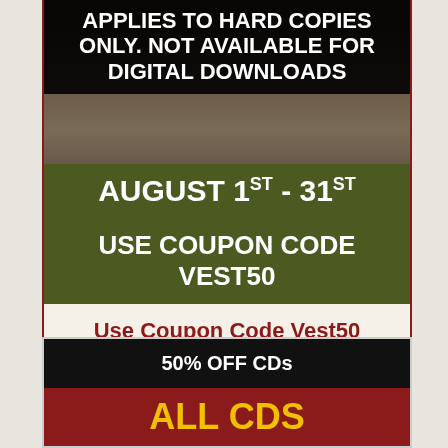[Figure (infographic): Promotional banner image with dark background photo of person with instrument, overlaid with bold white text on black background reading 'APPLIES TO HARD COPIES ONLY. NOT AVAILABLE FOR DIGITAL DOWNLOADS', and a green date bar reading 'AUGUST 1st - 31st', and a dark olive coupon code bar reading 'USE COUPON CODE VEST50']
Use Coupon Code Vest50
Applies to Hard Copies ONLY
50% OFF CDs
ALL CDs